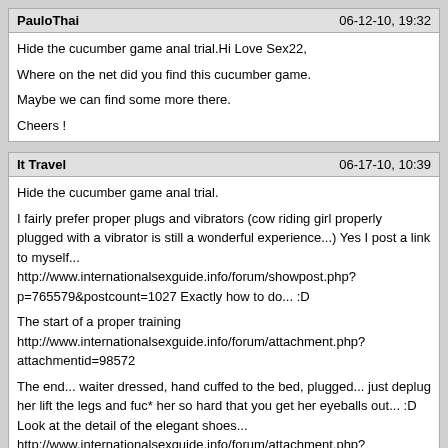PauloThai | 06-12-10, 19:32
Hide the cucumber game anal trial.Hi Love Sex22,

Where on the net did you find this cucumber game.

Maybe we can find some more there.

Cheers !
It Travel | 06-17-10, 10:39
Hide the cucumber game anal trial.

I fairly prefer proper plugs and vibrators (cow riding girl properly plugged with a vibrator is still a wonderful experience...) Yes I post a link to myself... http://www.internationalsexguide.info/forum/showpost.php?p=765579&postcount=1027 Exactly how to do... :D

The start of a proper training
http://www.internationalsexguide.info/forum/attachment.php?attachmentid=98572

The end... waiter dressed, hand cuffed to the bed, plugged... just deplug her lift the legs and fuc* her so hard that you get her eyeballs out... :D Look at the detail of the elegant shoes...
http://www.internationalsexguide.info/forum/attachment.php?attachmentid=98591


We have anal lovers on other pages too.. look at the wonderful job of Buttlover (I'm not for the MMF trio, prefer the FFM or even FFFM :p ) I managed several times in the SSM trio but still searching for the TTM trio... :p :p

S = Sister
T = Twin